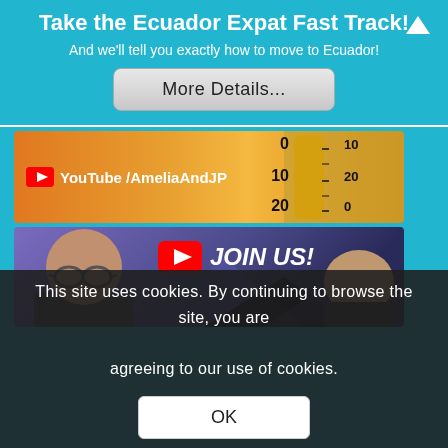Take the Ecuador Expat Fast Track!
And we’ll tell you exactly how to move to Ecuador!
[Figure (screenshot): More Details... button]
[Figure (screenshot): YouTube thumbnail showing a thermometer on orange background with text: YouTube /AmeliaAndJP]
[Figure (screenshot): YouTube thumbnail showing two people’s faces with text: JOIN US! and a red YouTube play button icon]
This site uses cookies. By continuing to browse the site, you are agreeing to our use of cookies.
[Figure (screenshot): OK button on dark cookie consent overlay]